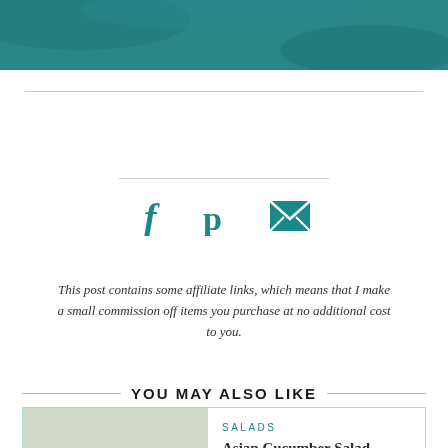[Figure (photo): Teal/dark cyan banner image at top of page]
[Figure (illustration): Social sharing icons: Facebook (f), Pinterest (p), and email (envelope) in teal color]
This post contains some affiliate links, which means that I make a small commission off items you purchase at no additional cost to you.
YOU MAY ALSO LIKE
[Figure (photo): Photo of Asian Cucumber Salad in a bowl with cucumbers and garnishes]
SALADS
Asian Cucumber Salad
15 MINS